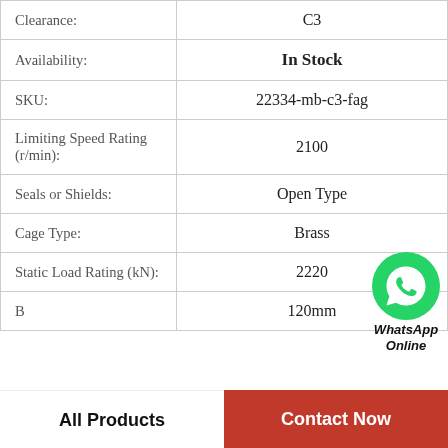| Property | Value |
| --- | --- |
| Clearance: | C3 |
| Availability: | In Stock |
| SKU: | 22334-mb-c3-fag |
| Limiting Speed Rating (r/min): | 2100 |
| Seals or Shields: | Open Type |
| Cage Type: | Brass |
| Static Load Rating (kN): | 2220 |
| B | 120mm |
[Figure (logo): WhatsApp Online badge with green phone icon]
All Products
Contact Now